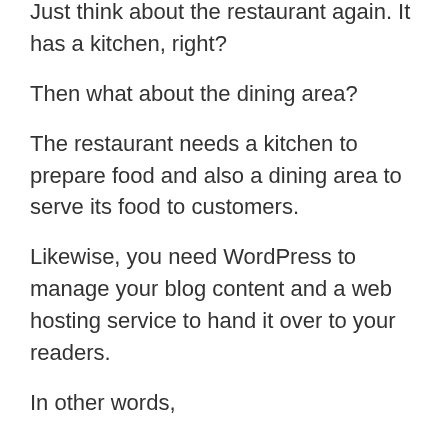Just think about the restaurant again. It has a kitchen, right?
Then what about the dining area?
The restaurant needs a kitchen to prepare food and also a dining area to serve its food to customers.
Likewise, you need WordPress to manage your blog content and a web hosting service to hand it over to your readers.
In other words,